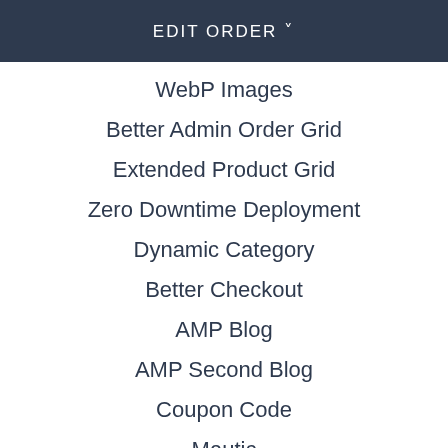EDIT ORDER ˅
WebP Images
Better Admin Order Grid
Extended Product Grid
Zero Downtime Deployment
Dynamic Category
Better Checkout
AMP Blog
AMP Second Blog
Coupon Code
Mautic
Hreflang Tags